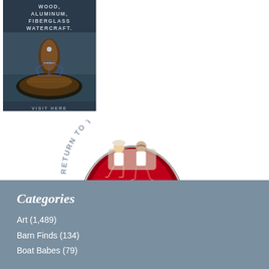[Figure (photo): Advertisement for wood, aluminum, fiberglass watercraft showing a classic wooden boat from the bow, with text 'WOOD, ALUMINUM, FIBERGLASS WATERCRAFT.' and 'VISIT HERE' on a dark background.]
[Figure (photo): Return to top graphic showing two people sitting on the bow of a red and black classic boat, with arc text 'RETURN TO TOP' above them.]
Categories
Art (1,489)
Barn Finds (134)
Boat Babes (79)